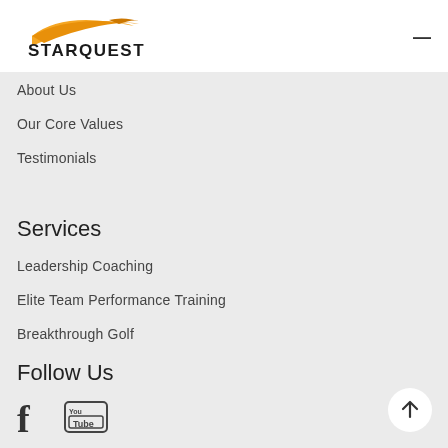[Figure (logo): Starquest logo with orange swoosh above bold black text STARQUEST]
About Us
Our Core Values
Testimonials
Services
Leadership Coaching
Elite Team Performance Training
Breakthrough Golf
Follow Us
[Figure (illustration): Facebook and YouTube social media icons]
[Figure (illustration): Scroll to top button with upward arrow]